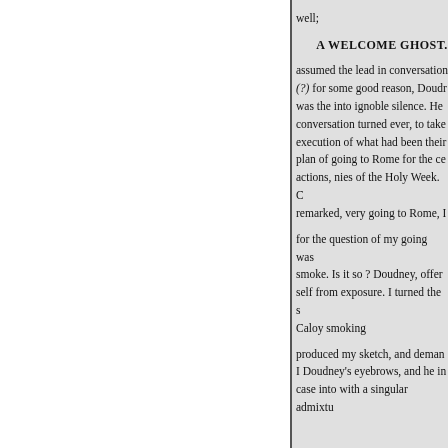well;
A WELCOME GHOST.
assumed the lead in conversation (?)
for some good reason, Doudney was the into ignoble silence. He conversation turned ever, to take execution of what had been their plan of going to Rome for the ce actions, nies of the Holy Week. remarked, very going to Rome, I
for the question of my going was smoke. Is it so ? Doudney, offer self from exposure. I turned the s Caloy smoking
produced my sketch, and deman I Doudney's eyebrows, and he in case into with a singular admixtu
and entreaty in the tone of her vo